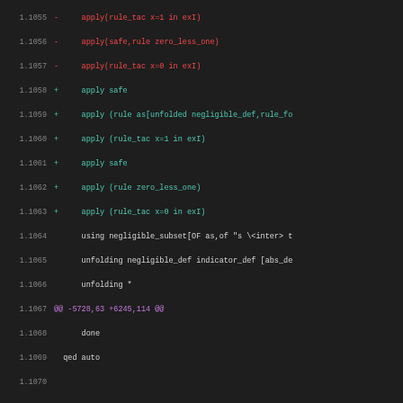[Figure (screenshot): Code diff view showing Isabelle/HOL proof script changes, lines 1.1055 through 1.1087, with red lines for deletions, green for additions, purple for diff headers, and white for context lines.]